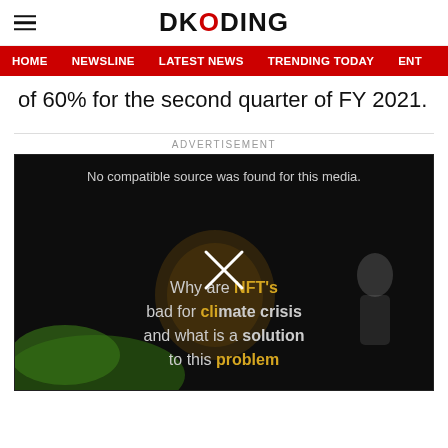DKODING
HOME  NEWSLINE  LATEST NEWS  TRENDING TODAY  ENT
of 60% for the second quarter of FY 2021.
ADVERTISEMENT
[Figure (screenshot): Video player showing error message 'No compatible source was found for this media.' with overlay text: Why are NFT's bad for climate crisis and what is a solution to this problem. A close/X button is overlaid in the center.]